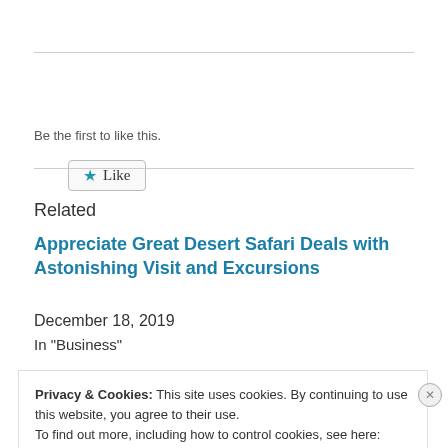[Figure (other): Like button with a blue star icon and the text 'Like']
Be the first to like this.
Related
Appreciate Great Desert Safari Deals with Astonishing Visit and Excursions
December 18, 2019
In "Business"
Privacy & Cookies: This site uses cookies. By continuing to use this website, you agree to their use.
To find out more, including how to control cookies, see here:
Cookie Policy
Close and accept